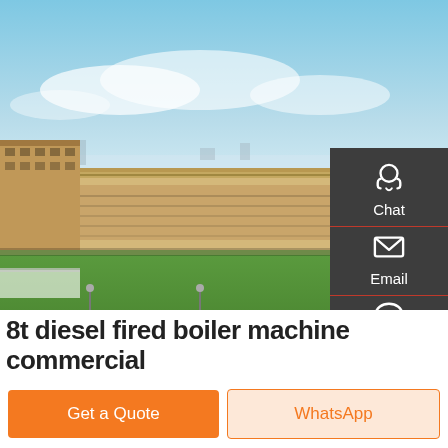[Figure (photo): Aerial view of a large industrial factory/manufacturing facility with long cream/tan colored warehouse buildings, green lawn in the foreground, blue sky with light clouds, roads and parked vehicles visible.]
Chat
Email
Contact
8t diesel fired boiler machine commercial
Get a Quote
WhatsApp